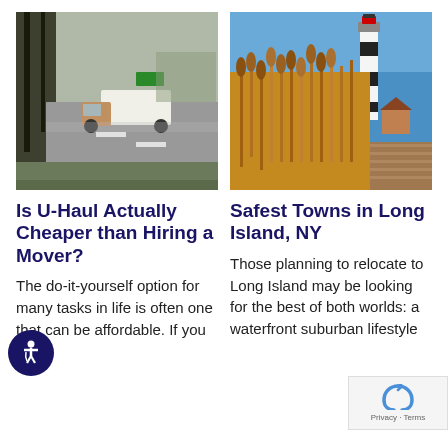[Figure (photo): Moving truck on a road under trees, urban street scene]
[Figure (photo): Lighthouse with tall golden reeds in foreground on Long Island, NY]
Is U-Haul Actually Cheaper than Hiring a Mover?
Safest Towns in Long Island, NY
The do-it-yourself option for many tasks in life is often one that can be affordable. If you
Those planning to relocate to Long Island may be looking for the best of both worlds: a waterfront suburban lifestyle